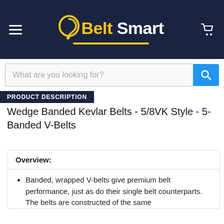Belt Smart — website header with logo, hamburger menu, and cart icon
What are you looking for?
PRODUCT DESCRIPTION
Wedge Banded Kevlar Belts - 5/8VK Style - 5-Banded V-Belts
Overview:
Banded, wrapped V-belts give premium belt performance, just as do their single belt counterparts. The belts are constructed of the same